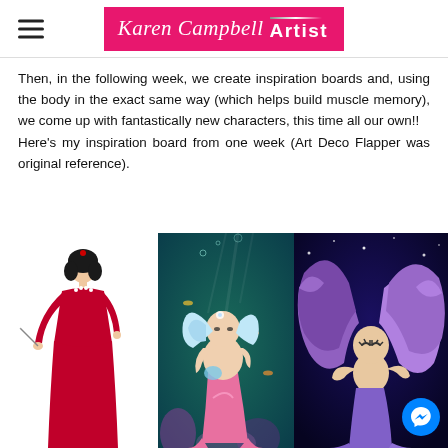Karen Campbell Artist
Then, in the following week, we create inspiration boards and, using the body in the exact same way (which helps build muscle memory), we come up with fantastically new characters, this time all our own!! Here's my inspiration board from one week (Art Deco Flapper was original reference).
[Figure (illustration): Inspiration board showing three illustrations: an Art Deco Flapper woman in a red gown on the left, and two mermaid character illustrations in the center and right.]